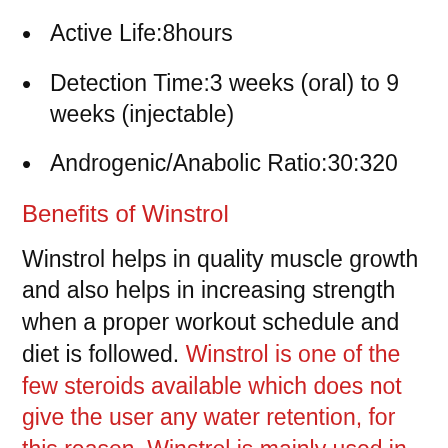Active Life:8hours
Detection Time:3 weeks (oral) to 9 weeks (injectable)
Androgenic/Anabolic Ratio:30:320
Benefits of Winstrol
Winstrol helps in quality muscle growth and also helps in increasing strength when a proper workout schedule and diet is followed. Winstrol is one of the few steroids available which does not give the user any water retention, for this reason, Winstrol is mainly used in cutting cycles, as it helps give the